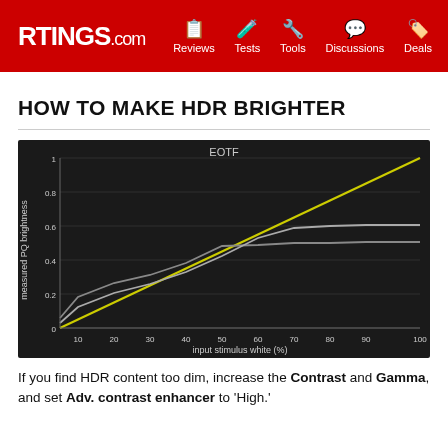RTINGS.com | Reviews | Tests | Tools | Discussions | Deals
HOW TO MAKE HDR BRIGHTER
[Figure (continuous-plot): EOTF chart showing measured PQ brightness (y-axis, 0 to 1) vs input stimulus white % (x-axis, 0 to 100). A yellow diagonal reference line goes from bottom-left to top-right. Two gray curves show actual measured brightness, rising steeply at first then leveling off around 0.5 and 0.65 respectively.]
If you find HDR content too dim, increase the Contrast and Gamma, and set Adv. contrast enhancer to 'High.'